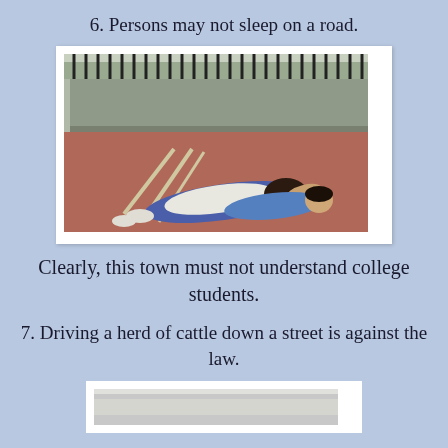6. Persons may not sleep on a road.
[Figure (photo): Two people lying on a reddish-brown ground/track surface with a fence and wall in the background.]
Clearly, this town must not understand college students.
7. Driving a herd of cattle down a street is against the law.
[Figure (photo): Partial view of another photo at the bottom of the page, appears to show a road or street scene.]